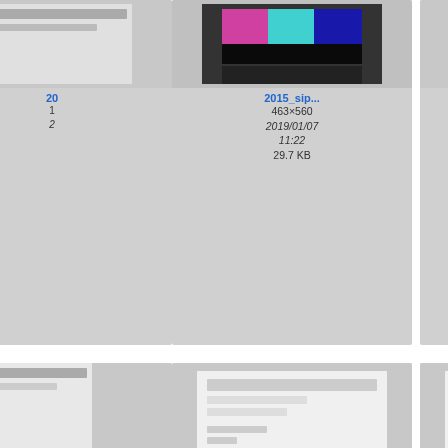[Figure (screenshot): Thumbnail of 2015_sip... image, 463x560, 2019/01/07 11:22, 29.7 KB]
[Figure (screenshot): Thumbnail of 2016_beri... image, 1089x1051, 2019/01/07 11:24, 75.4 KB]
[Figure (screenshot): Thumbnail of 2016_deli... image, 1022x492, 2019/01/07 11:24, 20.1 KB]
[Figure (screenshot): Thumbnail of 2016_deli... image, 1029x807, 2019/01/07 11:20, 73.3 KB]
[Figure (screenshot): Partial thumbnail bottom-left]
[Figure (screenshot): Partial thumbnail bottom-center]
[Figure (screenshot): Partial thumbnail bottom-right (clipped)]